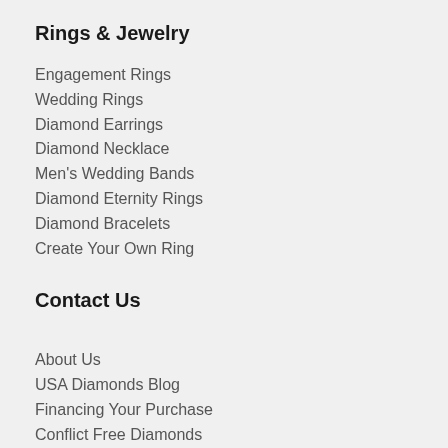Rings & Jewelry
Engagement Rings
Wedding Rings
Diamond Earrings
Diamond Necklace
Men's Wedding Bands
Diamond Eternity Rings
Diamond Bracelets
Create Your Own Ring
Contact Us
About Us
USA Diamonds Blog
Financing Your Purchase
Conflict Free Diamonds
Privacy Policy
Diamond Experts
Contact Us